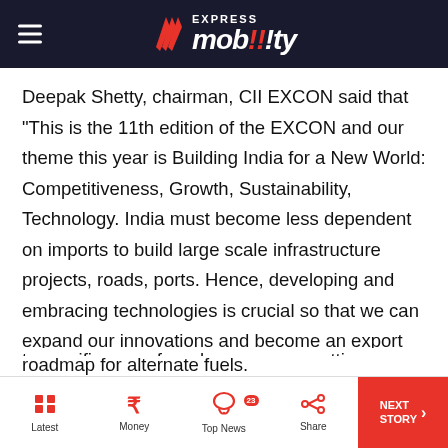Express Mobility
Deepak Shetty, chairman, CII EXCON said that “This is the 11th edition of the EXCON and our theme this year is Building India for a New World: Competitiveness, Growth, Sustainability, Technology. India must become less dependent on imports to build large scale infrastructure projects, roads, ports. Hence, developing and embracing technologies is crucial so that we can expand our innovations and become an export hub globally. The three key strategies that will help us to fast-track developments are – focusing on new growth drivers, understanding the significance of rural economy and putting a roadmap for alternate fuels.
Latest | Money | Top News | Share | NEXT STORY